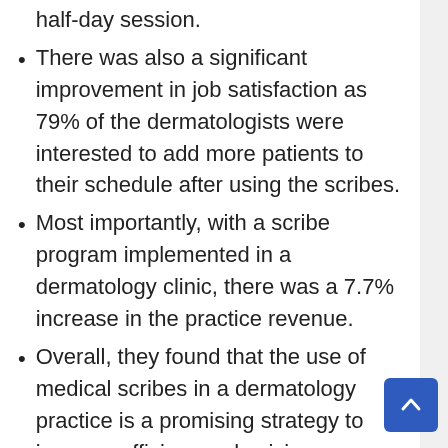half-day session.
There was also a significant improvement in job satisfaction as 79% of the dermatologists were interested to add more patients to their schedule after using the scribes.
Most importantly, with a scribe program implemented in a dermatology clinic, there was a 7.7% increase in the practice revenue.
Overall, they found that the use of medical scribes in a dermatology practice is a promising strategy to improve efficiency, physician satisfaction, and ultimately the bottom line.